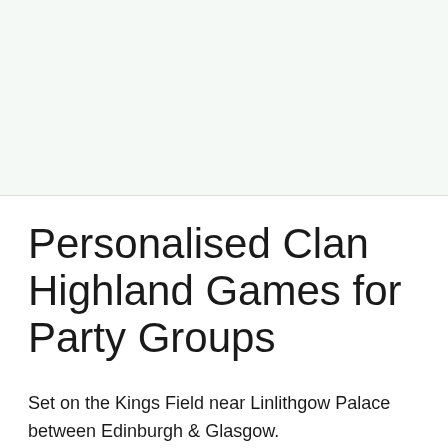Personalised Clan Highland Games for Party Groups
Set on the Kings Field near Linlithgow Palace between Edinburgh & Glasgow.